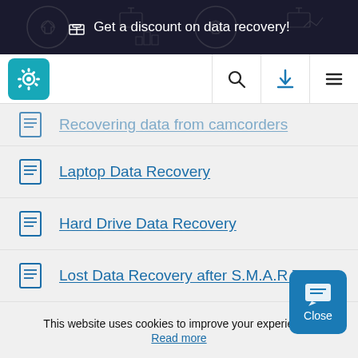[Figure (screenshot): Dark banner with gift icon and promotional text 'Get a discount on data recovery!']
[Figure (screenshot): Navigation bar with teal gear logo icon, search icon, download icon, and hamburger menu icon]
Recovering data from camcorders
Laptop Data Recovery
Hard Drive Data Recovery
Lost Data Recovery after S.M.A.R.T. Error
PC Data Recovery
Memory Card Data Recovery
This website uses cookies to improve your experience.
Read more